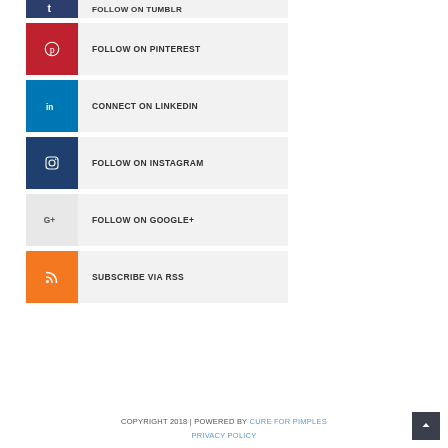FOLLOW ON TUMBLR
FOLLOW ON PINTEREST
CONNECT ON LINKEDIN
FOLLOW ON INSTAGRAM
FOLLOW ON GOOGLE+
SUBSCRIBE VIA RSS
COPYRIGHT 2018 | POWERED BY CURE FOR PIMPLES
PRIVACY POLICY